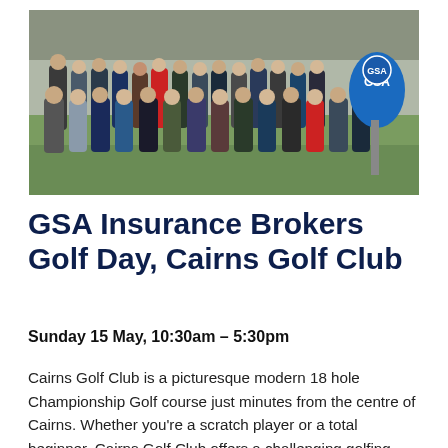[Figure (photo): Group photo of approximately 40 men standing on a golf course green, wearing casual and sporting attire. A blue GSA branded teardrop flag/banner is visible on the right side of the group. The background shows a manicured golf course with green grass.]
GSA Insurance Brokers Golf Day, Cairns Golf Club
Sunday 15 May, 10:30am – 5:30pm
Cairns Golf Club is a picturesque modern 18 hole Championship Golf course just minutes from the centre of Cairns. Whether you're a scratch player or a total beginner, Cairns Golf Club offers a challenging golfing experience and a relaxed welcoming